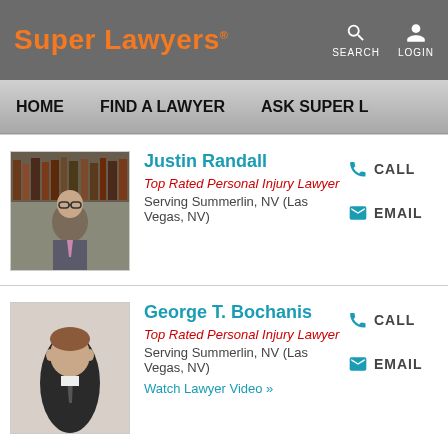Super Lawyers
HOME  FIND A LAWYER  ASK SUPER L
Justin Randall
Top Rated Personal Injury Lawyer
Serving Summerlin, NV (Las Vegas, NV)
CALL  EMAIL
George T. Bochanis
Top Rated Personal Injury Lawyer
Serving Summerlin, NV (Las Vegas, NV)
Watch Lawyer Video »
CALL  EMAIL